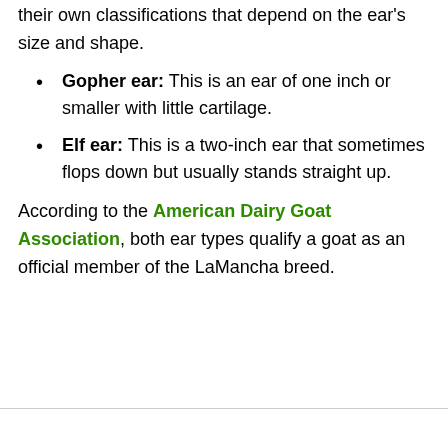their own classifications that depend on the ear's size and shape.
Gopher ear: This is an ear of one inch or smaller with little cartilage.
Elf ear: This is a two-inch ear that sometimes flops down but usually stands straight up.
According to the American Dairy Goat Association, both ear types qualify a goat as an official member of the LaMancha breed.